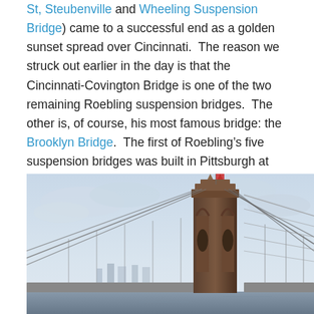St, Steubenville and Wheeling Suspension Bridge) came to a successful end as a golden sunset spread over Cincinnati.  The reason we struck out earlier in the day is that the Cincinnati-Covington Bridge is one of the two remaining Roebling suspension bridges.  The other is, of course, his most famous bridge: the Brooklyn Bridge.  The first of Roebling's five suspension bridges was built in Pittsburgh at the site of the current Smithfield Street Bridge, but lasted less than 40 years before the increased river and road traffic made it obsolete.
[Figure (photo): Photograph of a suspension bridge tower (Cincinnati-Covington/Roebling Suspension Bridge) at dusk with cables extending from the stone tower, city skyline visible in the background under a cloudy sky.]